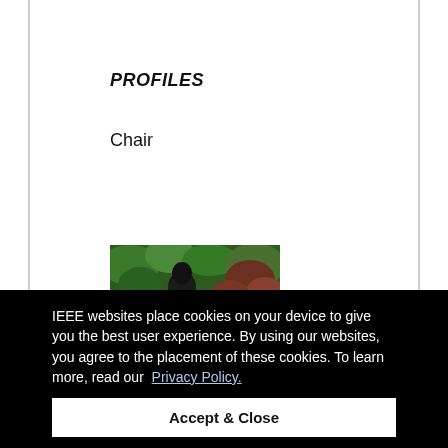PROFILES
Chair
[Figure (photo): Portrait photo of a person with dark background of foliage]
IEEE websites place cookies on your device to give you the best user experience. By using our websites, you agree to the placement of these cookies. To learn more, read our  Privacy Policy.
Accept & Close